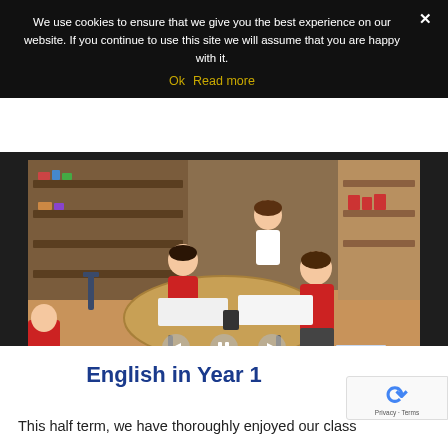We use cookies to ensure that we give you the best experience on our website. If you continue to use this site we will assume that you are happy with it.
Ok  Read more
[Figure (photo): Children in school uniforms (red jumpers) sitting and standing around a round wooden table in a primary school classroom, writing on paper. Bookshelves and school materials visible in the background.]
English in Year 1
This half term, we have thoroughly enjoyed our class